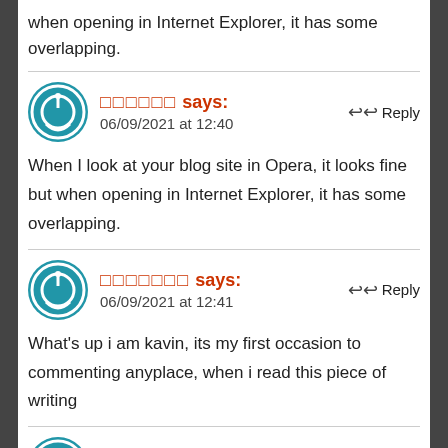when opening in Internet Explorer, it has some overlapping.
□□□□□□ says:
06/09/2021 at 12:40
Reply
When I look at your blog site in Opera, it looks fine but when opening in Internet Explorer, it has some overlapping.
□□□□□□□ says:
06/09/2021 at 12:41
Reply
What's up i am kavin, its my first occasion to commenting anyplace, when i read this piece of writing
□□□□□□□□ says:
06/09/2021 at 12:42
Reply